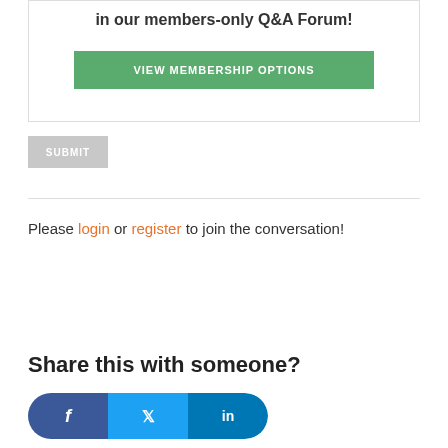in our members-only Q&A Forum!
VIEW MEMBERSHIP OPTIONS
SUBMIT
Please login or register to join the conversation!
Share this with someone?
[Figure (other): Social sharing buttons for Facebook, Twitter, and LinkedIn]